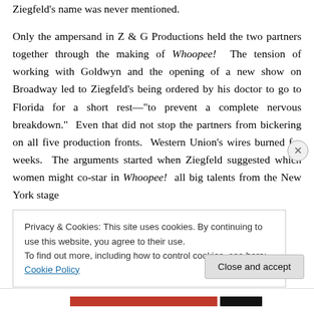Ziegfeld's name was never mentioned.
Only the ampersand in Z & G Productions held the two partners together through the making of Whoopee! The tension of working with Goldwyn and the opening of a new show on Broadway led to Ziegfeld's being ordered by his doctor to go to Florida for a short rest—"to prevent a complete nervous breakdown." Even that did not stop the partners from bickering on all five production fronts. Western Union's wires burned for weeks. The arguments started when Ziegfeld suggested which women might co-star in Whoopee! — all big talents from the New York stage
Privacy & Cookies: This site uses cookies. By continuing to use this website, you agree to their use.
To find out more, including how to control cookies, see here: Cookie Policy
Close and accept